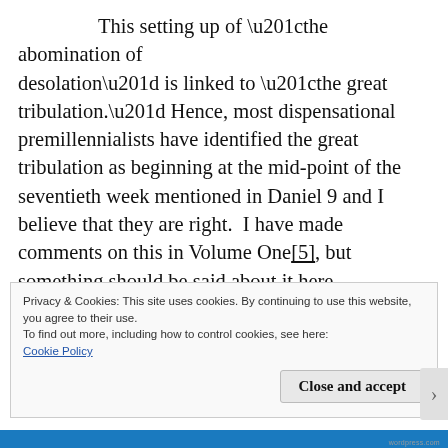This setting up of “the abomination of desolation” is linked to “the great tribulation.” Hence, most dispensational premillennialists have identified the great tribulation as beginning at the mid-point of the seventieth week mentioned in Daniel 9 and I believe that they are right. I have made comments on this in Volume One[5], but something should be said about it here.
Privacy & Cookies: This site uses cookies. By continuing to use this website, you agree to their use. To find out more, including how to control cookies, see here: Cookie Policy
Close and accept